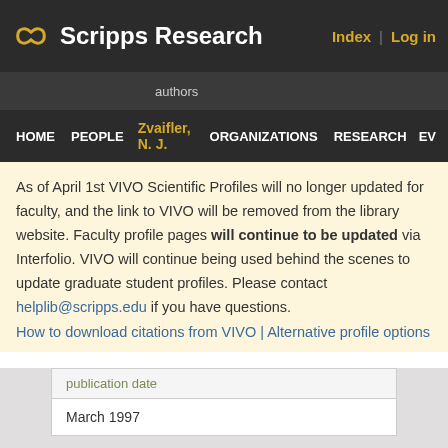Scripps Research — Index | Log in
authors
HOME   PEOPLE   ORGANIZATIONS   RESEARCH   EV
Zvaifler, N. J.
As of April 1st VIVO Scientific Profiles will no longer updated for faculty, and the link to VIVO will be removed from the library website. Faculty profile pages will continue to be updated via Interfolio. VIVO will continue being used behind the scenes to update graduate student profiles. Please contact helplib@scripps.edu if you have questions.
How to download citations from VIVO | Alternative profile options
| publication date |
| --- |
| March 1997 |